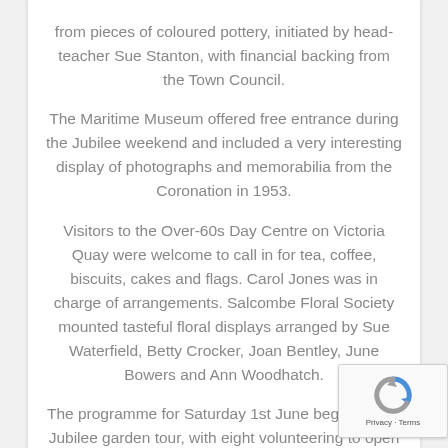from pieces of coloured pottery, initiated by head-teacher Sue Stanton, with financial backing from the Town Council.
The Maritime Museum offered free entrance during the Jubilee weekend and included a very interesting display of photographs and memorabilia from the Coronation in 1953.
Visitors to the Over-60s Day Centre on Victoria Quay were welcome to call in for tea, coffee, biscuits, cakes and flags.  Carol Jones was in charge of arrangements.  Salcombe Floral Society mounted tasteful floral displays arranged by Sue Waterfield, Betty Crocker, Joan Bentley, June Bowers and Ann Woodhatch.
The programme for Saturday 1st June began with a Jubilee garden tour, with eight volunteering to open their gardens: Mike and
[Figure (other): reCAPTCHA badge widget showing the reCAPTCHA logo and 'Privacy - Terms' text]